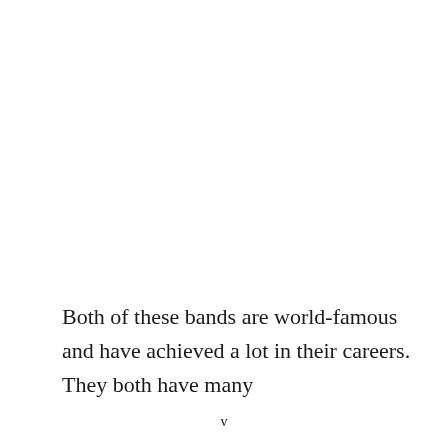Both of these bands are world-famous and have achieved a lot in their careers. They both have many
v